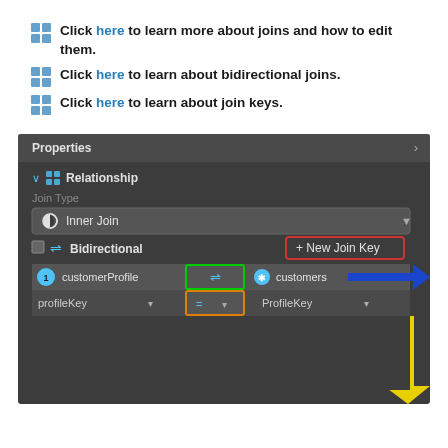Click here to learn more about joins and how to edit them.
Click here to learn about bidirectional joins.
Click here to learn about join keys.
[Figure (screenshot): Properties panel showing Relationship section with Join Type set to Inner Join, Bidirectional option, New Join Key button (red border), join key table with customerProfile and customers columns highlighted with green box around the join direction icon and orange box around the equals operator. Blue arrow points to customers column, yellow arrow points to ProfileKey dropdown.]